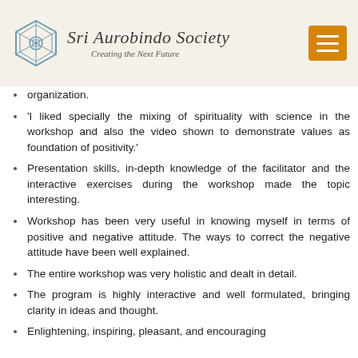Sri Aurobindo Society — Creating the Next Future
organization.
'I liked specially the mixing of spirituality with science in the workshop and also the video shown to demonstrate values as foundation of positivity.'
Presentation skills, in-depth knowledge of the facilitator and the interactive exercises during the workshop made the topic interesting.
Workshop has been very useful in knowing myself in terms of positive and negative attitude. The ways to correct the negative attitude have been well explained.
The entire workshop was very holistic and dealt in detail.
The program is highly interactive and well formulated, bringing clarity in ideas and thought.
Enlightening, inspiring, pleasant, and encouraging